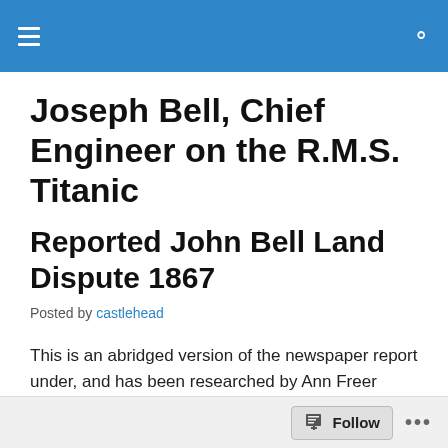Joseph Bell, Chief Engineer on the R.M.S. Titanic
Reported John Bell Land Dispute 1867
Posted by castlehead
This is an abridged version of the newspaper report under, and has been researched by Ann Freer adding to the diverse Bell family history.
Follow ...